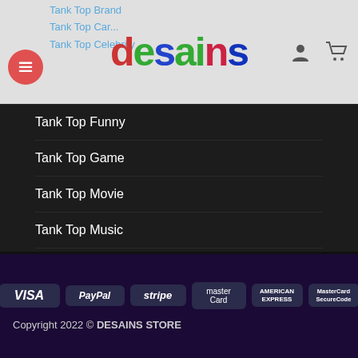desains — navigation header with menu button and icons
Tank Top Brand
Tank Top Car
Tank Top Celebrity
Tank Top Funny
Tank Top Game
Tank Top Movie
Tank Top Music
Tank Top Quotes
Tank Top Sport
Tank Top TV Series
Uncategorized (1)
VISA | PayPal | stripe | MasterCard | AMERICAN EXPRESS | MasterCard SecureCode | Copyright 2022 © DESAINS STORE